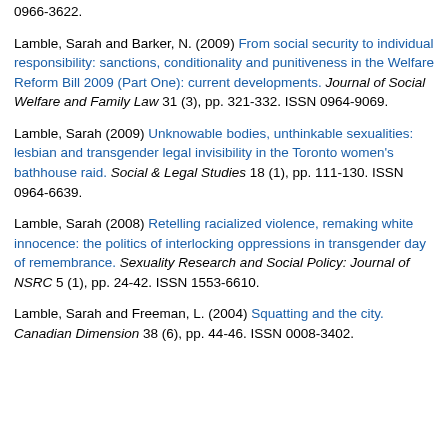0966-3622. Lamble, Sarah and Barker, N. (2009) From social security to individual responsibility: sanctions, conditionality and punitiveness in the Welfare Reform Bill 2009 (Part One): current developments. Journal of Social Welfare and Family Law 31 (3), pp. 321-332. ISSN 0964-9069.
Lamble, Sarah (2009) Unknowable bodies, unthinkable sexualities: lesbian and transgender legal invisibility in the Toronto women's bathhouse raid. Social & Legal Studies 18 (1), pp. 111-130. ISSN 0964-6639.
Lamble, Sarah (2008) Retelling racialized violence, remaking white innocence: the politics of interlocking oppressions in transgender day of remembrance. Sexuality Research and Social Policy: Journal of NSRC 5 (1), pp. 24-42. ISSN 1553-6610.
Lamble, Sarah and Freeman, L. (2004) Squatting and the city. Canadian Dimension 38 (6), pp. 44-46. ISSN 0008-3402.